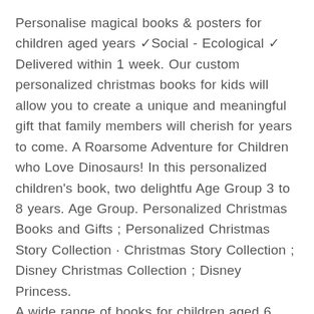Personalise magical books & posters for children aged years ✓Social - Ecological ✓ Delivered within 1 week. Our custom personalized christmas books for kids will allow you to create a unique and meaningful gift that family members will cherish for years to come. A Roarsome Adventure for Children who Love Dinosaurs! In this personalized children's book, two delightfu Age Group 3 to 8 years. Age Group. Personalized Christmas Books and Gifts ; Personalized Christmas Story Collection · Christmas Story Collection ; Disney Christmas Collection ; Disney Princess.
A wide range of books for children aged 6 years and older - suitable for all occasions, starting from $ 🔲🔲 Father's Day is coming! Save 20% when you buy 2+ books with code MULTI Discover the world's favourite personalized children's book. A magical story of self-discovery, based on the letters of a child's name. Countdown to Christmas